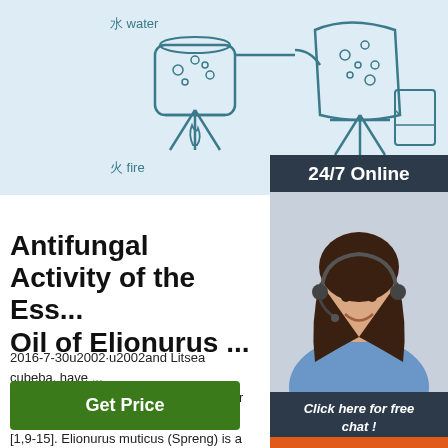[Figure (illustration): Scientific distillation illustration with Chinese labels: 水 water (water vessel on stand), 火 fire (flame), 纯露 Hydrosol (collection vessel). Teal/blue line-art style on light blue background.]
[Figure (photo): 24/7 Online chat widget with dark navy header reading '24/7 Online', photo of smiling female consultant with headset, text 'Click here for free chat!' and orange QUOTATION button.]
Antifungal Activity of the Ess... Oil of Elionurus ...
2016-7-30u2002·u2002and Litsea cubeba, have ... for their antifungal, cytotoxicity and other biologic... [1,9-15]. Elionurus muticus (Spreng) is a tufted grass found in Zimbabwe and has been evaluated for essential oil composition, antioxidant activity ...
[Figure (logo): TOP logo with orange dot triangle pattern above the word TOP in orange text]
[Figure (other): Green 'Get Price' button]